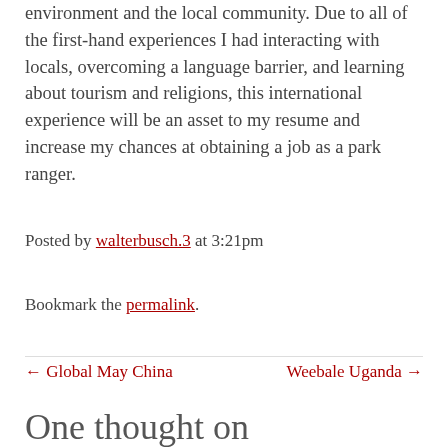environment and the local community. Due to all of the first-hand experiences I had interacting with locals, overcoming a language barrier, and learning about tourism and religions, this international experience will be an asset to my resume and increase my chances at obtaining a job as a park ranger.
Posted by walterbusch.3 at 3:21pm
Bookmark the permalink.
← Global May China   Weebale Uganda →
One thought on